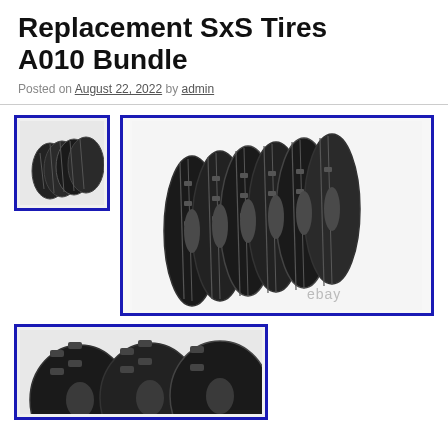Replacement SxS Tires A010 Bundle
Posted on August 22, 2022 by admin
[Figure (photo): Thumbnail image of multiple ATV/SxS tires stacked, shown in a blue-bordered box]
[Figure (photo): Main large image of 6 ATV/SxS off-road tires fanned out standing upright, white background, with ebay watermark, blue border]
[Figure (photo): Partial bottom image of ATV/SxS tires close-up tread view, blue border]